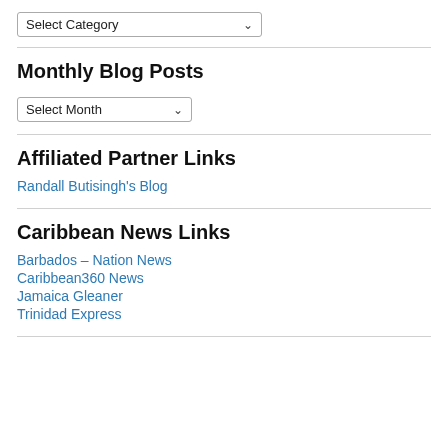Select Category (dropdown)
Monthly Blog Posts
Select Month (dropdown)
Affiliated Partner Links
Randall Butisingh's Blog
Caribbean News Links
Barbados – Nation News
Caribbean360 News
Jamaica Gleaner
Trinidad Express